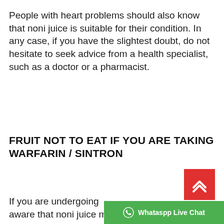People with heart problems should also know that noni juice is suitable for their condition. In any case, if you have the slightest doubt, do not hesitate to seek advice from a health specialist, such as a doctor or a pharmacist.
FRUIT NOT TO EAT IF YOU ARE TAKING WARFARIN / SINTRON
If you are undergoing aware that noni juice may interact